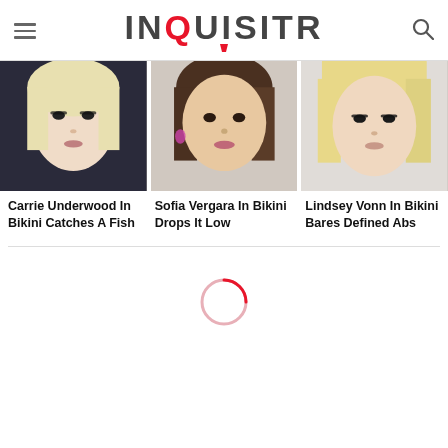INQUISITR
[Figure (photo): Close-up photo of Carrie Underwood, a blonde woman with dramatic eye makeup]
[Figure (photo): Close-up photo of Sofia Vergara, a brunette woman with wavy hair and pink earrings]
[Figure (photo): Close-up photo of Lindsey Vonn, a blonde woman with straight hair]
Carrie Underwood In Bikini Catches A Fish
Sofia Vergara In Bikini Drops It Low
Lindsey Vonn In Bikini Bares Defined Abs
[Figure (other): Loading spinner circle in red/pink color]